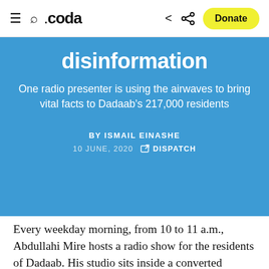.coda — navigation bar with hamburger menu, search, share, and Donate button
disinformation
One radio presenter is using the airwaves to bring vital facts to Dadaab's 217,000 residents
BY ISMAIL EINASHE
10 JUNE, 2020   DISPATCH
Every weekday morning, from 10 to 11 a.m., Abdullahi Mire hosts a radio show for the residents of Dadaab. His studio sits inside a converted shipping container, once used by the UN to deliver